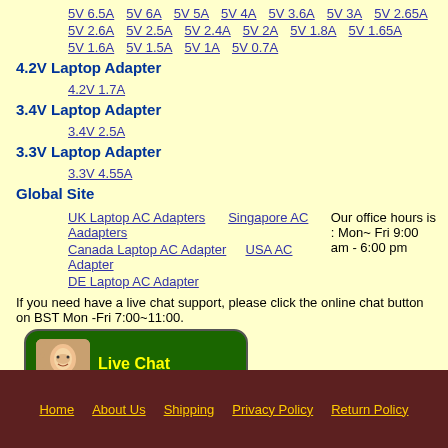5V 6.5A  5V 6A  5V 5A  5V 4A  5V 3.6A  5V 3A  5V 2.65A
5V 2.6A  5V 2.5A  5V 2.4A  5V 2A  5V 1.8A  5V 1.65A
5V 1.6A  5V 1.5A  5V 1A  5V 0.7A
4.2V Laptop Adapter
4.2V 1.7A
3.4V Laptop Adapter
3.4V 2.5A
3.3V Laptop Adapter
3.3V 4.55A
Global Site
UK Laptop AC Adapters  Singapore AC Aadapters
Canada Laptop AC Adapter  USA AC Adapter
DE Laptop AC Adapter
Our office hours is : Mon~ Fri 9:00 am - 6:00 pm
If you need have a live chat support, please click the online chat button on BST Mon -Fri 7:00~11:00.
[Figure (infographic): Live Chat online service banner with agent photo, yellow Live Chat heading, online service text, and Ask a question >> button]
Home   About Us   Shipping   Privacy Policy   Return Policy